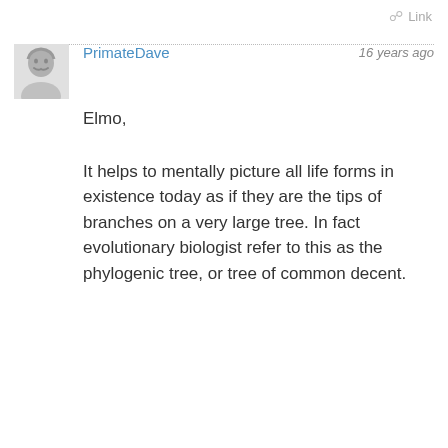Link
[Figure (photo): Black and white profile photo of a man with a mustache]
PrimateDave
16 years ago
Elmo,
It helps to mentally picture all life forms in existence today as if they are the tips of branches on a very large tree. In fact evolutionary biologist refer to this as the phylogenic tree, or tree of common decent.